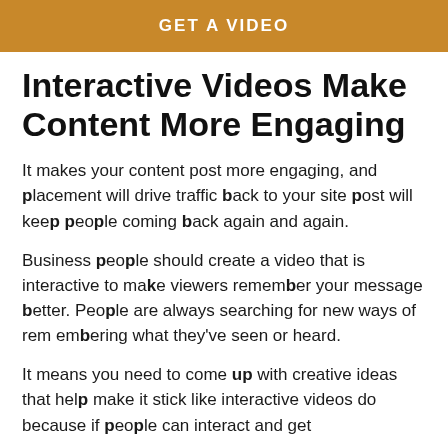GET A VIDEO
Interactive Videos Make Content More Engaging
It makes your content post more engaging, and placement will drive traffic back to your site post will keep people coming back again and again.
Business people should create a video that is interactive to make viewers remember your message better. People are always searching for new ways of remembering what they've seen or heard.
It means you need to come up with creative ideas that help make it stick like interactive videos do because if people can interact and get